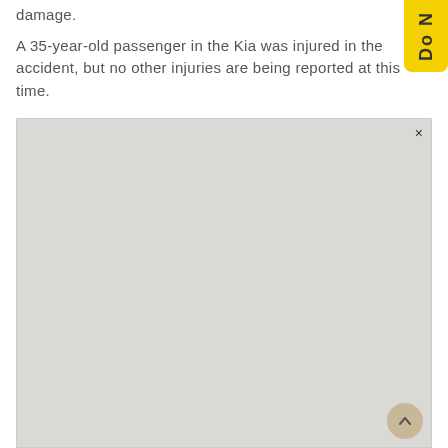damage.
A 35-year-old passenger in the Kia was injured in the accident, but no other injuries are being reported at this time.
[Figure (map): A light grey map area with a close (×) button in the top right corner and a scroll-to-top button in the bottom right corner.]